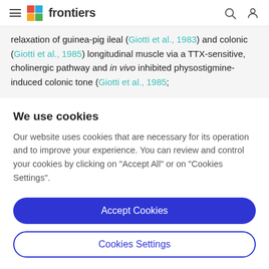frontiers
relaxation of guinea-pig ileal (Giotti et al., 1983) and colonic (Giotti et al., 1985) longitudinal muscle via a TTX-sensitive, cholinergic pathway and in vivo inhibited physostigmine-induced colonic tone (Giotti et al., 1985;
We use cookies
Our website uses cookies that are necessary for its operation and to improve your experience. You can review and control your cookies by clicking on "Accept All" or on "Cookies Settings".
Accept Cookies
Cookies Settings